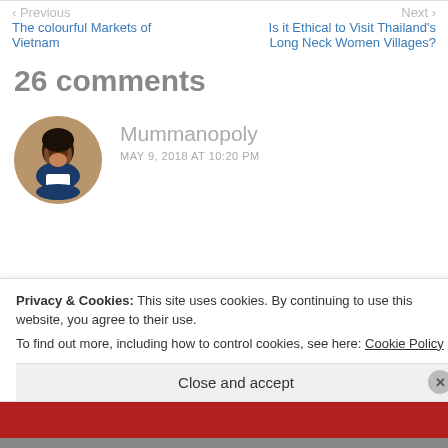< Previous    Next >
The colourful Markets of Vietnam
Is it Ethical to Visit Thailand's Long Neck Women Villages?
26 comments
Mummanopoly
MAY 9, 2018 AT 10:20 PM
Privacy & Cookies: This site uses cookies. By continuing to use this website, you agree to their use.
To find out more, including how to control cookies, see here: Cookie Policy
Close and accept